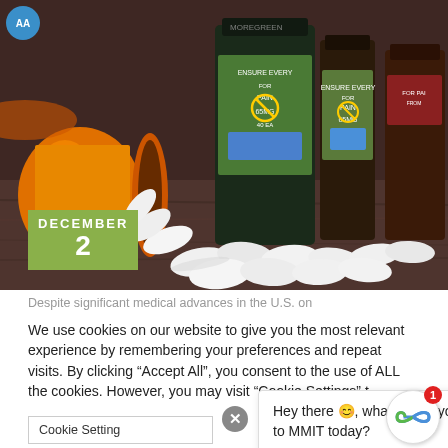[Figure (photo): Orange prescription pill bottle on its side with white oval pills spilling out onto a wooden surface, with dark medicine bottles in the background showing partial labels]
DECEMBER
2
Despite significant medical advances in the U.S. on
We use cookies on our website to give you the most relevant experience by remembering your preferences and repeat visits. By clicking “Accept All”, you consent to the use of ALL the cookies. However, you may visit “Cookie Settings” to
Cookie Setting
Hey there 😊, what brings you to MMIT today?